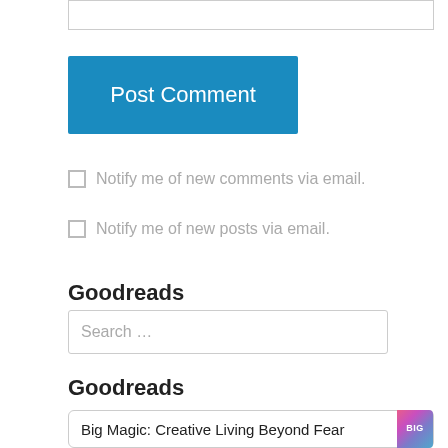[Figure (screenshot): Empty text input box at the top of the page]
Post Comment
Notify me of new comments via email.
Notify me of new posts via email.
Goodreads
[Figure (screenshot): Search input box with placeholder text 'Search …']
Goodreads
Big Magic: Creative Living Beyond Fear